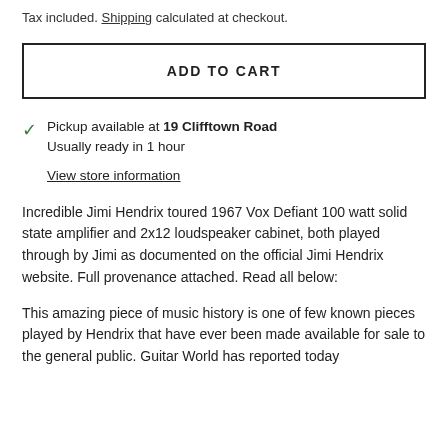Tax included. Shipping calculated at checkout.
ADD TO CART
Pickup available at 19 Clifftown Road
Usually ready in 1 hour
View store information
Incredible Jimi Hendrix toured 1967 Vox Defiant 100 watt solid state amplifier and 2x12 loudspeaker cabinet, both played through by Jimi as documented on the official Jimi Hendrix website. Full provenance attached. Read all below:
This amazing piece of music history is one of few known pieces played by Hendrix that have ever been made available for sale to the general public. Guitar World has reported today